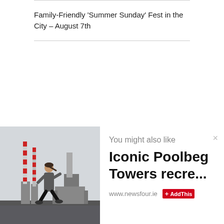Family-Friendly ‘Summer Sunday’ Fest in the City – August 7th
[Figure (photo): Person jogging along a waterfront with the iconic red-and-white striped Poolbeg Towers (chimneys) visible in the background against a grey sky.]
You might also like
Iconic Poolbeg Towers recre...
www.newsfour.ie
AddThis